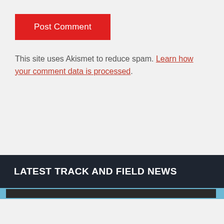Post Comment
This site uses Akismet to reduce spam. Learn how your comment data is processed.
LATEST TRACK AND FIELD NEWS
[Figure (photo): Partial image strip visible at the bottom of the page, dark colored]